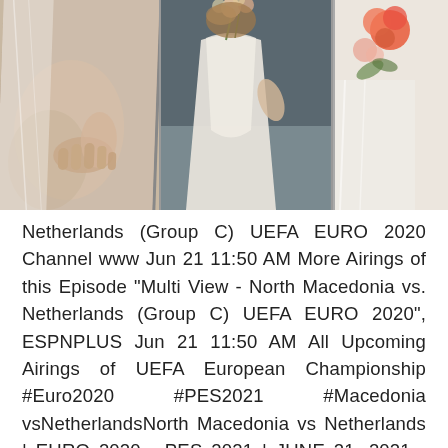[Figure (photo): A partial wedding photo showing mirrored/triptych panels: left panel shows skin/veil texture, center panel shows a person in white dress holding flowers, right panel shows orange/pink flowers against light background.]
Netherlands (Group C) UEFA EURO 2020 Channel www Jun 21 11:50 AM More Airings of this Episode "Multi View - North Macedonia vs. Netherlands (Group C) UEFA EURO 2020", ESPNPLUS Jun 21 11:50 AM All Upcoming Airings of UEFA European Championship #Euro2020 #PES2021 #Macedonia vsNetherlandsNorth Macedonia vs Netherlands | EURO 2020 - PES 2021 | JUNE 21, 2021 - PREDICTION----- Stream North Macedonia vs. Netherlands (Group C) UEFA EURO